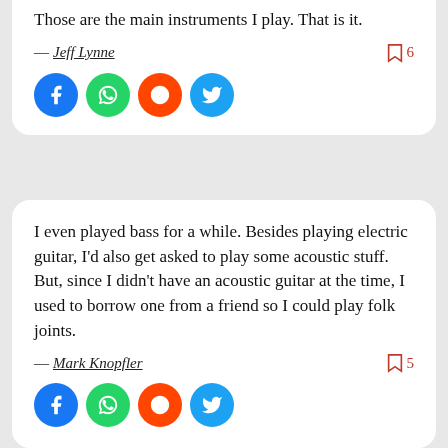Those are the main instruments I play. That is it.
— Jeff Lynne
I even played bass for a while. Besides playing electric guitar, I'd also get asked to play some acoustic stuff. But, since I didn't have an acoustic guitar at the time, I used to borrow one from a friend so I could play folk joints.
— Mark Knopfler